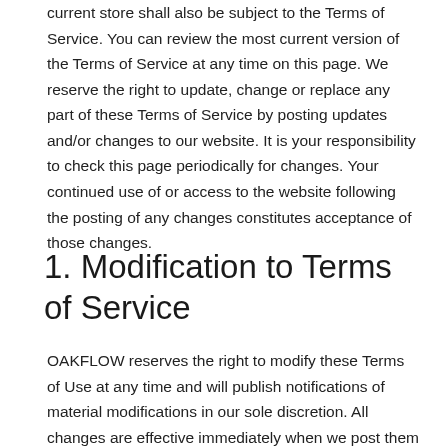current store shall also be subject to the Terms of Service. You can review the most current version of the Terms of Service at any time on this page. We reserve the right to update, change or replace any part of these Terms of Service by posting updates and/or changes to our website. It is your responsibility to check this page periodically for changes. Your continued use of or access to the website following the posting of any changes constitutes acceptance of those changes.
1. Modification to Terms of Service
OAKFLOW reserves the right to modify these Terms of Use at any time and will publish notifications of material modifications in our sole discretion. All changes are effective immediately when we post them and apply to all access to and use of the site